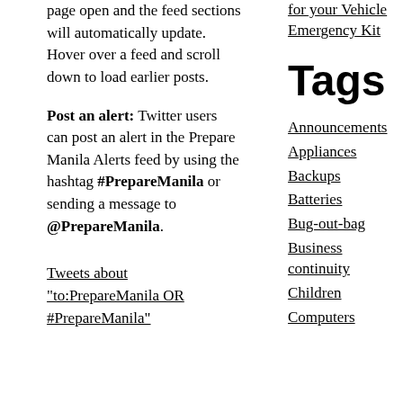page open and the feed sections will automatically update. Hover over a feed and scroll down to load earlier posts.
Post an alert: Twitter users can post an alert in the Prepare Manila Alerts feed by using the hashtag #PrepareManila or sending a message to @PrepareManila.
Tweets about "to:PrepareManila OR #PrepareManila"
for your Vehicle Emergency Kit
Tags
Announcements
Appliances
Backups
Batteries
Bug-out-bag
Business continuity
Children
Computers